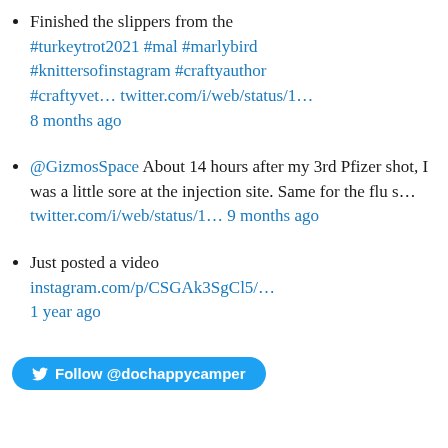Finished the slippers from the #turkeytrot2021 #mal #marlybird #knittersofinstagram #craftyauthor #craftyvet… twitter.com/i/web/status/1… 8 months ago
@GizmosSpace About 14 hours after my 3rd Pfizer shot, I was a little sore at the injection site. Same for the flu s… twitter.com/i/web/status/1… 9 months ago
Just posted a video instagram.com/p/CSGAk3SgCl5/… 1 year ago
Follow @dochappycamper